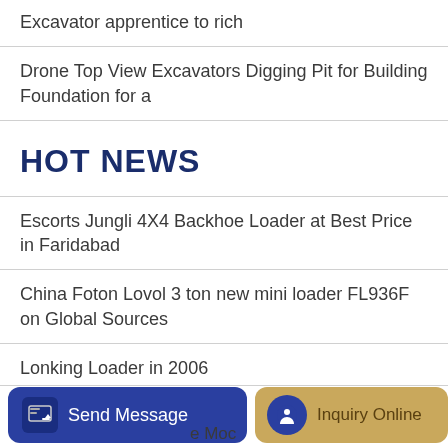Excavator apprentice to rich
Drone Top View Excavators Digging Pit for Building Foundation for a
HOT NEWS
Escorts Jungli 4X4 Backhoe Loader at Best Price in Faridabad
China Foton Lovol 3 ton new mini loader FL936F on Global Sources
Lonking Loader in 2006
All pin names of the loader